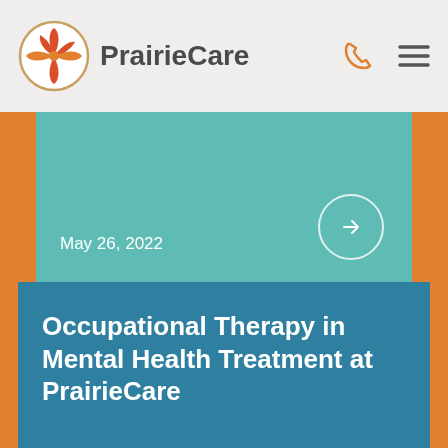PrairieCare
May 26, 2022
Occupational Therapy in Mental Health Treatment at PrairieCare